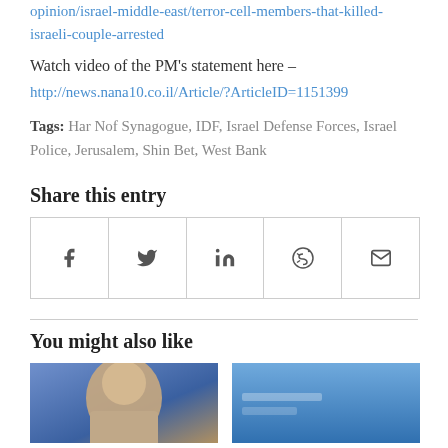opinion/israel-middle-east/terror-cell-members-that-killed-israeli-couple-arrested
Watch video of the PM’s statement here – http://news.nana10.co.il/Article/?ArticleID=1151399
Tags: Har Nof Synagogue, IDF, Israel Defense Forces, Israel Police, Jerusalem, Shin Bet, West Bank
Share this entry
[Figure (other): Social share buttons row: Facebook, Twitter, LinkedIn, Reddit, Email]
You might also like
[Figure (photo): Two thumbnail images side by side below 'You might also like' heading]